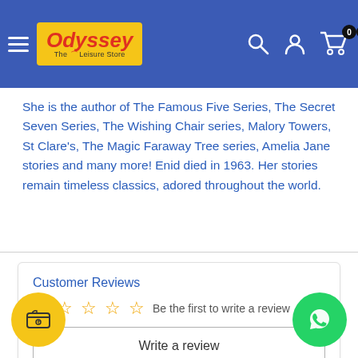Odyssey - The Leisure Store
She is the author of The Famous Five Series, The Secret Seven Series, The Wishing Chair series, Malory Towers, St Clare's, The Magic Faraway Tree series, Amelia Jane stories and many more! Enid died in 1963. Her stories remain timeless classics, adored throughout the world.
Customer Reviews
Be the first to write a review
Write a review